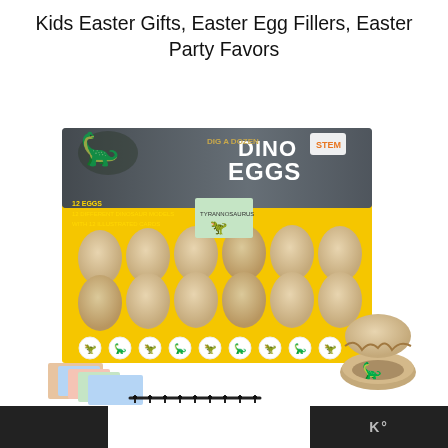Kids Easter Gifts, Easter Egg Fillers, Easter Party Favors
[Figure (photo): Product photo of 'Dig a Dozen Dino Eggs' kit in a yellow display box with 12 sand-colored egg-shaped excavation kits, illustrated dinosaur cards, small chisels/tools, and a cracked-open egg showing a dinosaur figure inside. Dinosaur stickers line the front of the box. STEM badge visible on packaging.]
m° (logo watermark, bottom right)